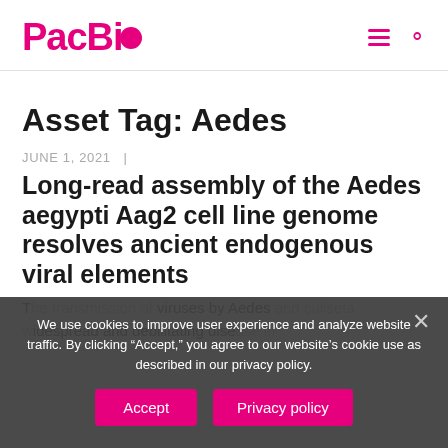PacBio
Asset Tag: Aedes
JUNE 1, 2021  |
Long-read assembly of the Aedes aegypti Aag2 cell line genome resolves ancient endogenous viral elements
The transmission of viruses by Aedes and other culiseta widespread and debilitating disease in
We use cookies to improve user experience and analyze website traffic. By clicking “Accept,” you agree to our website’s cookie use as described in our privacy policy.